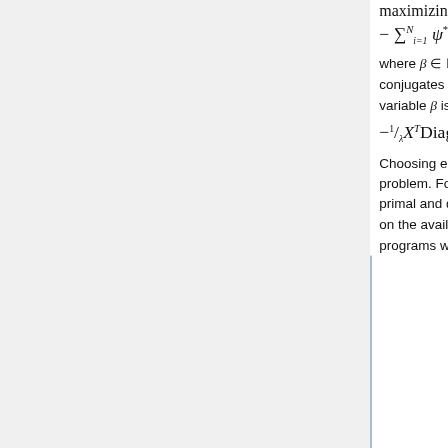where β ∈ ℝ^N is the Lagrangian multiplier, and ψ_i* and Ω* are Fenchel conjugates of ψ_i and Ω, respectively. For finding α, first the optimal dual variable β is found and then α is among the Fenchel duals of
Choosing either the primal or the dual formulation depends on the problem. For instance, in CF problem, the number of variables of the primal and dual formulation is equal to m_X m_Y and N, respectively, and based on the available ratings N compared to m_X m_Y, one of the primal or dual programs will be chosen.